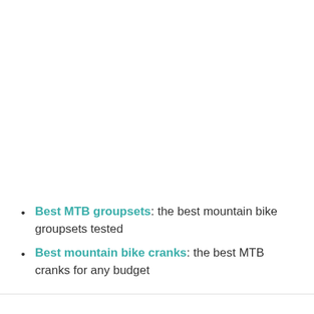Best MTB groupsets: the best mountain bike groupsets tested
Best mountain bike cranks: the best MTB cranks for any budget